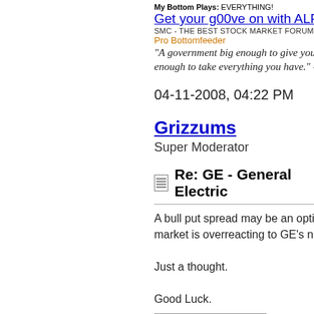My Bottom Plays: EVERYTHING!
Get your g00ve on with ALPHATRAD
SMC - THE BEST STOCK MARKET FORUM
Pro Bottomfeeder
"A government big enough to give you everything you want is big enough to take everything you have." -
04-11-2008, 04:22 PM
Grizzums
Super Moderator
Re: GE - General Electric
A bull put spread may be an option if y market is overreacting to GE's number
Just a thought.
Good Luck.
Grizz's Economic C
www.theemancipate